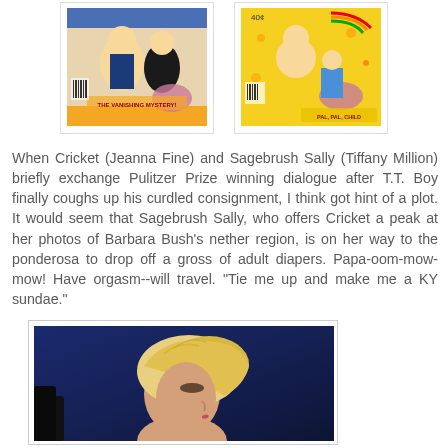[Figure (photo): Two comic book covers held by hand with dark nail polish — left is an Archie-style comic 'The Vanishing Mystery', right is a yellow comic with cartoon characters]
When Cricket (Jeanna Fine) and Sagebrush Sally (Tiffany Million) briefly exchange Pulitzer Prize winning dialogue after T.T. Boy finally coughs up his curdled consignment, I think got hint of a plot. It would seem that Sagebrush Sally, who offers Cricket a peak at her photos of Barbara Bush's nether region, is on her way to the ponderosa to drop off a gross of adult diapers. Papa-oom-mow-mow! Have orgasm--will travel. "Tie me up and make me a KY sundae."
[Figure (photo): Profile photo of a woman with blonde hair against a dark blue background]